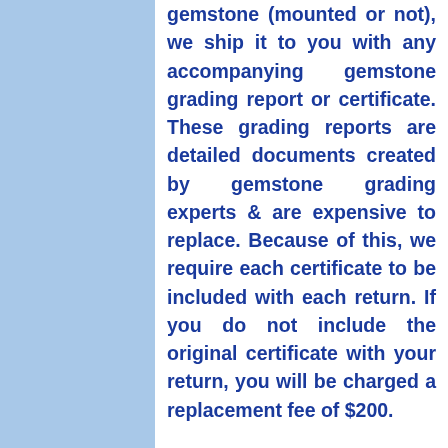gemstone (mounted or not), we ship it to you with any accompanying gemstone grading report or certificate. These grading reports are detailed documents created by gemstone grading experts & are expensive to replace. Because of this, we require each certificate to be included with each return. If you do not include the original certificate with your return, you will be charged a replacement fee of $200.

*Please note that return and